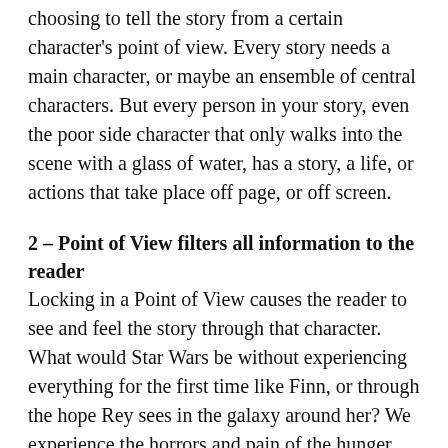choosing to tell the story from a certain character's point of view. Every story needs a main character, or maybe an ensemble of central characters. But every person in your story, even the poor side character that only walks into the scene with a glass of water, has a story, a life, or actions that take place off page, or off screen.
2 – Point of View filters all information to the reader
Locking in a Point of View causes the reader to see and feel the story through that character. What would Star Wars be without experiencing everything for the first time like Finn, or through the hope Rey sees in the galaxy around her? We experience the horrors and pain of the hunger Games through Katniss, and her interactions with the other tributes. As writers, we control the emotional journey of the readers, and that's a good thing. We take the reader on a roller coaster through our books, leading them through the low moments and raising them up to heights of tensions and t...